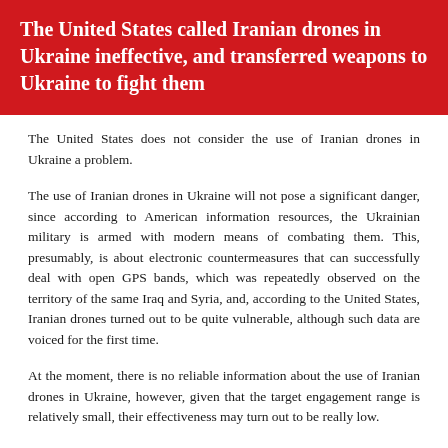The United States called Iranian drones in Ukraine ineffective, and transferred weapons to Ukraine to fight them
The United States does not consider the use of Iranian drones in Ukraine a problem.
The use of Iranian drones in Ukraine will not pose a significant danger, since according to American information resources, the Ukrainian military is armed with modern means of combating them. This, presumably, is about electronic countermeasures that can successfully deal with open GPS bands, which was repeatedly observed on the territory of the same Iraq and Syria, and, according to the United States, Iranian drones turned out to be quite vulnerable, although such data are voiced for the first time.
At the moment, there is no reliable information about the use of Iranian drones in Ukraine, however, given that the target engagement range is relatively small, their effectiveness may turn out to be really low.
Earlier, the United States announced that Iranian drones